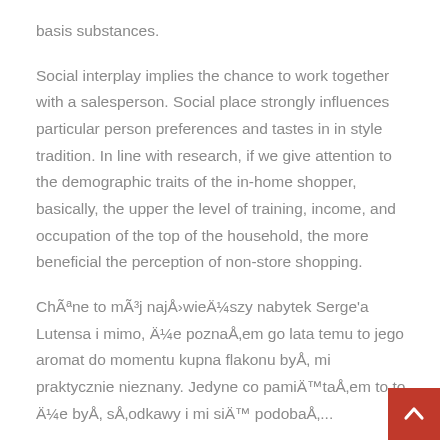basis substances.
Social interplay implies the chance to work together with a salesperson. Social place strongly influences particular person preferences and tastes in in style tradition. In line with research, if we give attention to the demographic traits of the in-home shopper, basically, the upper the level of training, income, and occupation of the top of the household, the more beneficial the perception of non-store shopping.
Chętne to mój najświęszy nabytek Serge'a Lutensa i mimo, że poznałem go lata temu to jego aromat do momentu kupna flakonu był mi praktycznie nieznany. Jedyne co pamiętałem to to, że był słodkawy i mi się podobał...